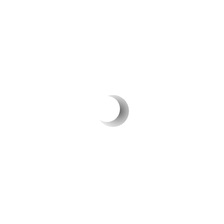[Figure (illustration): A small crescent/loading spinner icon rendered in gray tones, centered on an otherwise blank white page. The shape resembles a crescent moon or a circular arrow indicator, with darker gray on the right side fading to lighter gray on the left.]